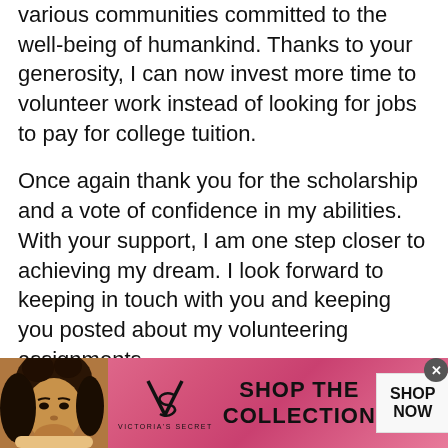various communities committed to the well-being of humankind. Thanks to your generosity, I can now invest more time to volunteer work instead of looking for jobs to pay for college tuition.
Once again thank you for the scholarship and a vote of confidence in my abilities. With your support, I am one step closer to achieving my dream. I look forward to keeping in touch with you and keeping you posted about my volunteering assignments.
Sincerely
Your Name
[Figure (advertisement): Victoria's Secret advertisement banner with a woman's photo on the left, VS logo in center-left, 'SHOP THE COLLECTION' text in bold, and a 'SHOP NOW' button on the right. Pink/red gradient background.]